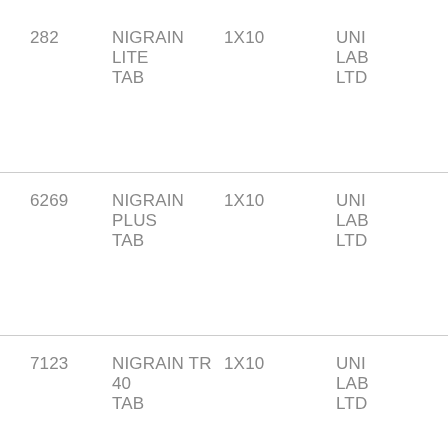| 282 | NIGRAIN LITE TAB | 1X10 | UNI LAB LTD |
| 6269 | NIGRAIN PLUS TAB | 1X10 | UNI LAB LTD |
| 7123 | NIGRAIN TR 40 TAB | 1X10 | UNI LAB LTD |
| 5934 | NIGRAIN TR 80MG TAB | 1X10 | UNI LAB LTD |